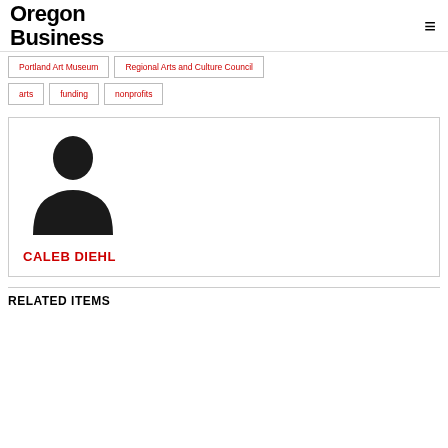Oregon Business
Portland Art Museum
Regional Arts and Culture Council
arts
funding
nonprofits
[Figure (illustration): Generic placeholder silhouette of a person (bust, dark/black) on white background]
CALEB DIEHL
RELATED ITEMS